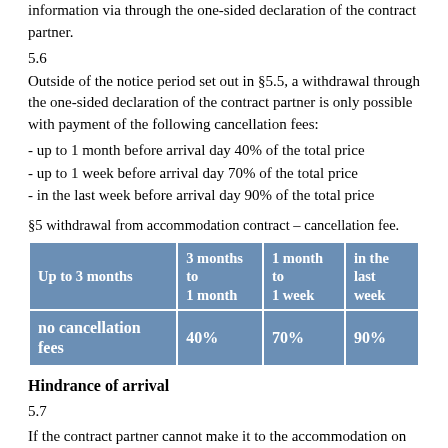information via through the one-sided declaration of the contract partner.
5.6
Outside of the notice period set out in §5.5, a withdrawal through the one-sided declaration of the contract partner is only possible with payment of the following cancellation fees:
- up to 1 month before arrival day 40% of the total price
- up to 1 week before arrival day 70% of the total price
- in the last week before arrival day 90% of the total price
§5 withdrawal from accommodation contract – cancellation fee.
| Up to 3 months | 3 months to 1 month | 1 month to 1 week | in the last week |
| --- | --- | --- | --- |
| no cancellation fees | 40% | 70% | 90% |
Hindrance of arrival
5.7
If the contract partner cannot make it to the accommodation on the day of arrival due to unforeseen exceptional circumstances (e.g. extreme snowfall, floods etc.), the contract partner is not obliged to